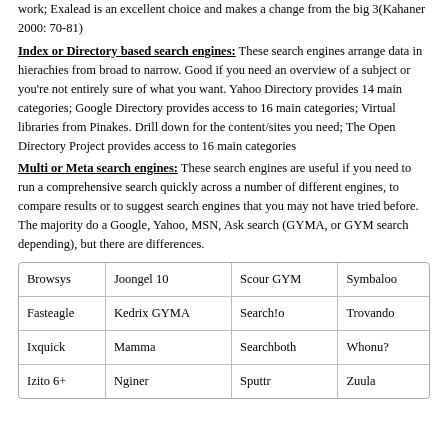work; Exalead is an excellent choice and makes a change from the big 3(Kahaner 2000: 70-81)
Index or Directory based search engines: These search engines arrange data in hierachies from broad to narrow. Good if you need an overview of a subject or you're not entirely sure of what you want. Yahoo Directory provides 14 main categories; Google Directory provides access to 16 main categories; Virtual libraries from Pinakes. Drill down for the content/sites you need; The Open Directory Project provides access to 16 main categories
Multi or Meta search engines: These search engines are useful if you need to run a comprehensive search quickly across a number of different engines, to compare results or to suggest search engines that you may not have tried before. The majority do a Google, Yahoo, MSN, Ask search (GYMA, or GYM search depending), but there are differences.
| Browsys | Joongel 10 | Scour GYM | Symbaloo |
| Fasteagle | Kedrix GYMA | Search!o | Trovando |
| Ixquick | Mamma | Searchboth | Whonu? |
| Izito 6+ | Nginer | Sputtr | Zuula |